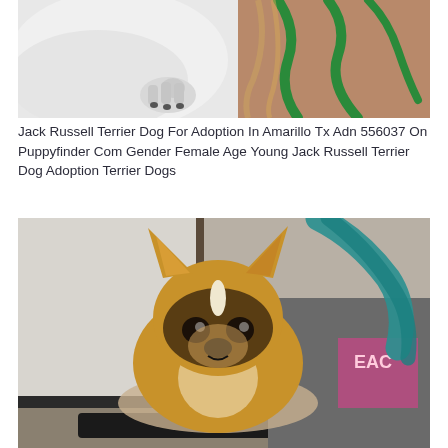[Figure (photo): Close-up photo of a white Jack Russell Terrier dog being held by a person wearing a green mesh/rope leash around their neck. The dog's white paw is visible against the person's skin.]
Jack Russell Terrier Dog For Adoption In Amarillo Tx Adn 556037 On Puppyfinder Com Gender Female Age Young Jack Russell Terrier Dog Adoption Terrier Dogs
[Figure (photo): Photo of a young brown and black dog (possibly a Corgi mix or similar breed) with large pointed ears being held by a person with teal/blue dyed hair wearing a pink and gray graphic t-shirt. The dog is looking directly at the camera. Background shows a gray wall and door frame.]